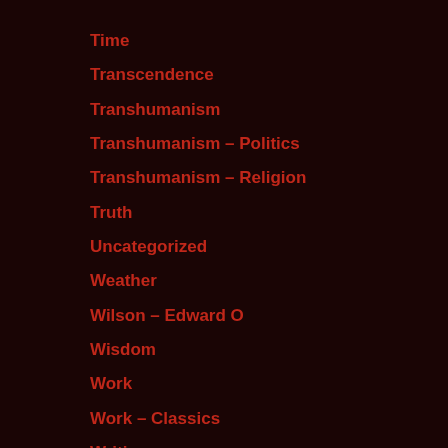Time
Transcendence
Transhumanism
Transhumanism – Politics
Transhumanism – Religion
Truth
Uncategorized
Weather
Wilson – Edward O
Wisdom
Work
Work – Classics
Writing